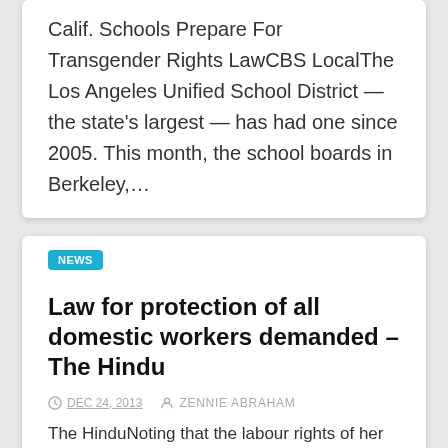Calif. Schools Prepare For Transgender Rights LawCBS LocalThe Los Angeles Unified School District — the state's largest — has had one since 2005. This month, the school boards in Berkeley,…
NEWS
Law for protection of all domestic workers demanded – The Hindu
DEC 24, 2013   ZENNIE ABRAHAM
The HinduNoting that the labour rights of her domestic worker Sangeeta Richard have been ignored, the